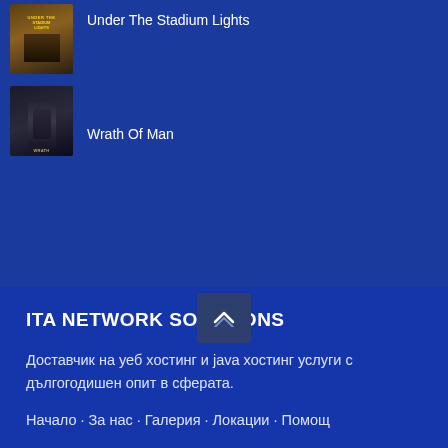[Figure (photo): Movie poster thumbnail for Under The Stadium Lights]
Under The Stadium Lights
[Figure (photo): Movie poster thumbnail for Wrath Of Man]
Wrath Of Man
ITA NETWORK SOLUTIONS
Доставчик на уеб хостинг и java хостинг услуги с дългогодишен опит в сферата.
Начало · За нас · Галерия · Локации · Помощ